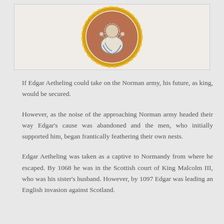[Figure (photo): A circular coin or medallion with a gold rim, showing a seated figure on a reddish-brown enamel background, with blue and white detailing.]
If Edgar Aetheling could take on the Norman army, his future, as king, would be secured.
However, as the noise of the approaching Norman army headed their way Edgar's cause was abandoned and the men, who initially supported him, began frantically feathering their own nests.
Edgar Aetheling was taken as a captive to Normandy from where he escaped. By 1068 he was in the Scottish court of King Malcolm III, who was his sister's husband. However, by 1097 Edgar was leading an English invasion against Scotland.